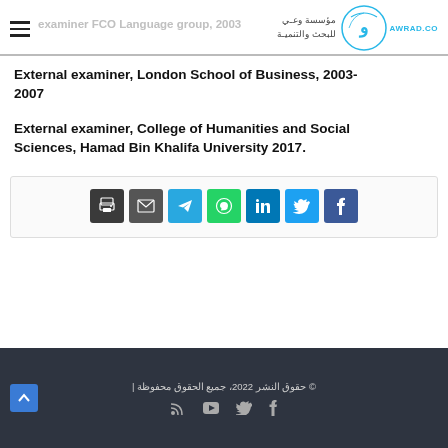examiner FCO Language group, 2003 | مؤسسة وعي للبحث والتنمية | AWRAD.CO
External examiner, London School of Business, 2003-2007
External examiner, College of Humanities and Social Sciences, Hamad Bin Khalifa University 2017.
[Figure (infographic): Social sharing icons row: print, email, Telegram, WhatsApp, LinkedIn, Twitter, Facebook]
© حقوق النشر 2022، جميع الحقوق محفوظة | (social icons: RSS, YouTube, Twitter, Facebook)